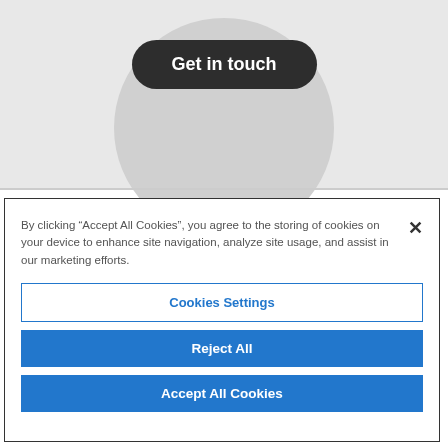[Figure (screenshot): Top section showing a dark rounded button labeled 'Get in touch' centered on a gray background with a circular gray shape behind it.]
By clicking “Accept All Cookies”, you agree to the storing of cookies on your device to enhance site navigation, analyze site usage, and assist in our marketing efforts.
Cookies Settings
Reject All
Accept All Cookies